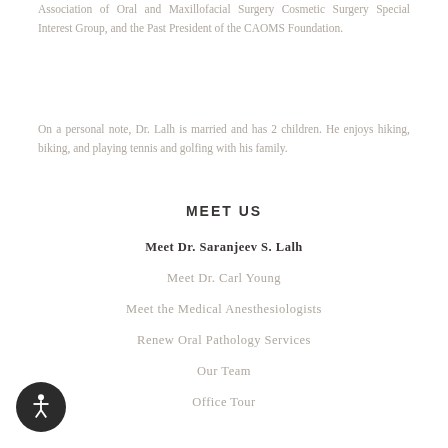Association of Oral and Maxillofacial Surgery Cosmetic Surgery Special Interest Group, and the Past President of the CAOMS Foundation.
On a personal note, Dr. Lalh is married and has 2 children. He enjoys hiking, biking, and playing tennis and golfing with his family.
MEET US
Meet Dr. Saranjeev S. Lalh
Meet Dr. Carl Young
Meet the Medical Anesthesiologists
Renew Oral Pathology Services
Our Team
Office Tour